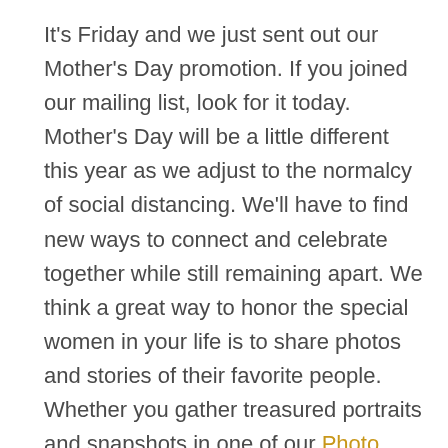It's Friday and we just sent out our Mother's Day promotion. If you joined our mailing list, look for it today. Mother's Day will be a little different this year as we adjust to the normalcy of social distancing. We'll have to find new ways to connect and celebrate together while still remaining apart. We think a great way to honor the special women in your life is to share photos and stories of their favorite people. Whether you gather treasured portraits and snapshots in one of our Photo Binders, or assemble a collection of moments in one of our unique